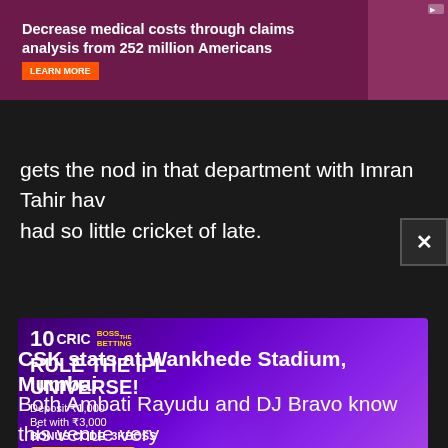[Figure (photo): Top advertisement banner with purple/maroon background: 'Decrease medical costs through claims analysis from 252 million Americans' with a LEARN MORE button and a woman's photo on the right]
gets the nod in that department with Imran Tahir hav... had so little cricket of late.
[Figure (photo): 10CRIC betting advertisement with purple gradient background and cricket player. Text: BOSS THE BETTING, RULE THE IPL UNIVERSE!, Deposit ₹1,000, Bet with ₹3,000, BONUS CODE: 3KBOSS, Join Now button, Terms apply. 18+]
CSK stats at Wankhede Stadium, Mumbai
Both Ambati Rayudu and DJ Bravo know this venue very